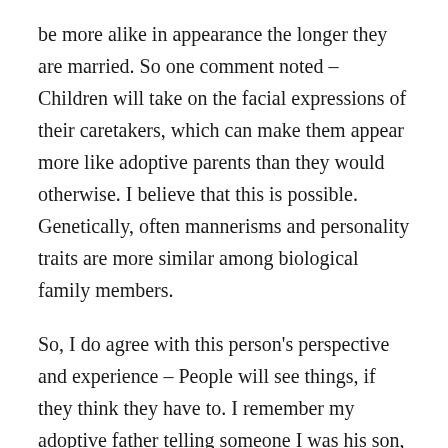be more alike in appearance the longer they are married. So one comment noted – Children will take on the facial expressions of their caretakers, which can make them appear more like adoptive parents than they would otherwise. I believe that this is possible. Genetically, often mannerisms and personality traits are more similar among biological family members.
So, I do agree with this person's perspective and experience – People will see things, if they think they have to. I remember my adoptive father telling someone I was his son, when they asked who I was. I couldn't be more different than him and this guy squinted his eyes and looked at me for a while before saying, yeah I see the resemblance.